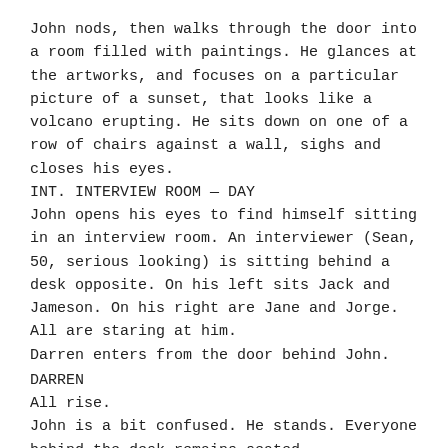John nods, then walks through the door into a room filled with paintings. He glances at the artworks, and focuses on a particular picture of a sunset, that looks like a volcano erupting. He sits down on one of a row of chairs against a wall, sighs and closes his eyes.
INT. INTERVIEW ROOM — DAY
John opens his eyes to find himself sitting in an interview room. An interviewer (Sean, 50, serious looking) is sitting behind a desk opposite. On his left sits Jack and Jameson. On his right are Jane and Jorge. All are staring at him.
Darren enters from the door behind John.
DARREN
All rise.
John is a bit confused. He stands. Everyone behind the desk remains seated.
SEAN
Hello, John.